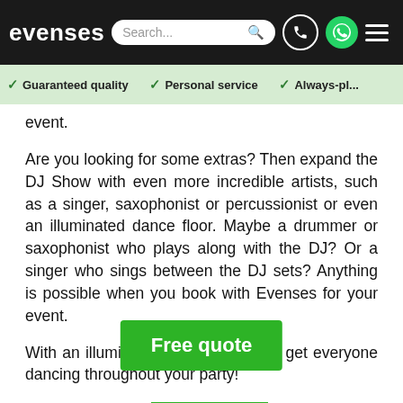evenses | Search... | phone | whatsapp | menu
✓ Guaranteed quality   ✓ Personal service   ✓ Always-pl...
event.
Are you looking for some extras? Then expand the DJ Show with even more incredible artists, such as a singer, saxophonist or percussionist or even an illuminated dance floor. Maybe a drummer or saxophonist who plays along with the DJ? Or a singer who sings between the DJ sets? Anything is possible when you book with Evenses for your event.
With an illuminated dance floor, you get everyone dancing throughout your party!
This creates the u[...] for your party. A dance floor with lig[...] item to encourage your guests to get on their feet. In addition to this, the
Free quote